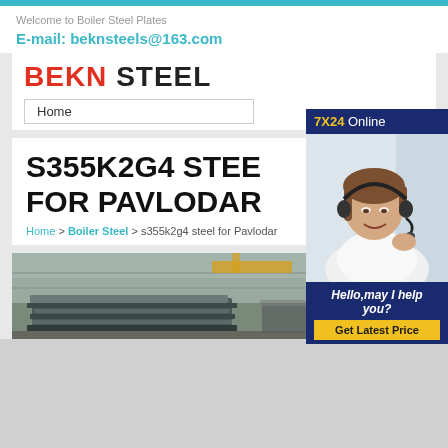Welcome to Boiler Steel Plates
E-mail: beknsteels@163.com
BEKN STEEL
Home
S355K2G4 STEEL FOR PAVLODAR
Home > Boiler Steel > s355k2g4 steel for Pavlodar
[Figure (photo): Customer service representative wearing headset with '7X24 Online' banner and 'Hello, may I help you?' and 'Get Latest Price' button overlay widget]
[Figure (photo): Steel plates in an industrial warehouse or processing facility]